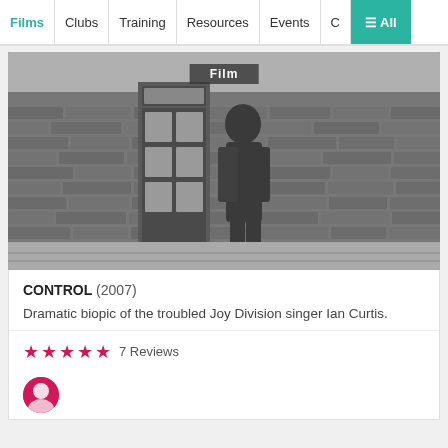Films | Clubs | Training | Resources | Events | ≡ All
[Figure (photo): Black and white photograph of a young man in a long coat walking past a brick wall with a red telephone box, resembling Ian Curtis of Joy Division.]
Film
CONTROL (2007)
Dramatic biopic of the troubled Joy Division singer Ian Curtis.
★★★★★ 7 Reviews